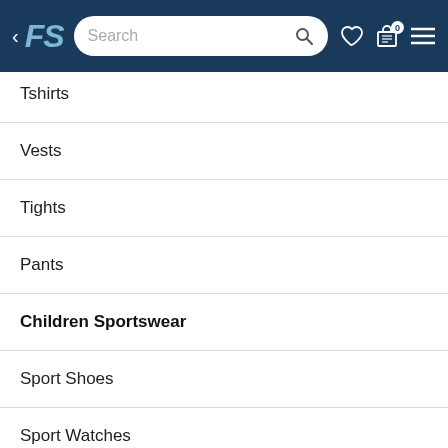FS [logo] | Search | Navigation bar
Tshirts
Vests
Tights
Pants
Children Sportswear
Sport Shoes
Sport Watches
go pro accessories
Posters